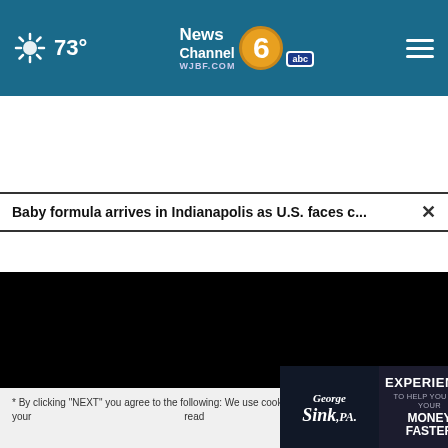73° | News Channel 6 WJBF.COM abc
Baby formula arrives in Indianapolis as U.S. faces c...
[Figure (screenshot): Video player with black screen, progress bar at start, play button, muted icon, 00:00 timestamp, and fullscreen button]
NEXT
* By clicking "NEXT" you agree to the following: We use cookies to track your... read...
[Figure (other): George Sink P.A. advertisement: EXPERIENCE TO HELP YOU GET YOUR MONEY FASTER | HOW CAN WE HELP YOU? (762) 999-9999 GET HELP NOW]